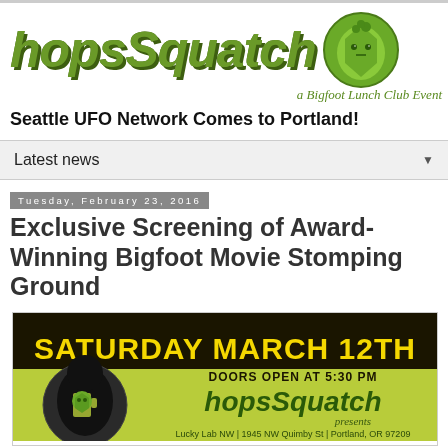[Figure (logo): hopsSquatch logo with green stylized text and a cartoon green bigfoot mascot character in a circle, subtitle reads 'a Bigfoot Lunch Club Event']
Seattle UFO Network Comes to Portland!
Latest news
Tuesday, February 23, 2016
Exclusive Screening of Award-Winning Bigfoot Movie Stomping Ground
[Figure (infographic): Event poster for SATURDAY MARCH 12TH, DOORS OPEN AT 5:30 PM, hopsSquatch presents, Lucky Lab NW | 1945 NW Quimby St | Portland, OR 97209. Dark background with green and yellow text. Bigfoot mascot logo on left.]